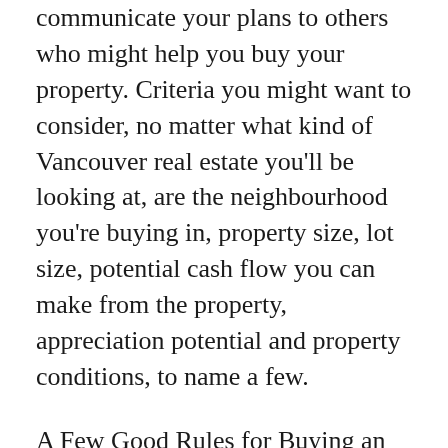communicate your plans to others who might help you buy your property. Criteria you might want to consider, no matter what kind of Vancouver real estate you'll be looking at, are the neighbourhood you're buying in, property size, lot size, potential cash flow you can make from the property, appreciation potential and property conditions, to name a few.
A Few Good Rules for Buying an Investment PropertyThere are some rules in buying investment property, and although every rule in investing is still not an exact science, employing these rules might help you to get a larger return and avoid bad investments. For instance, "The 2% Rule" states that your monthly rent should be about 2% of the